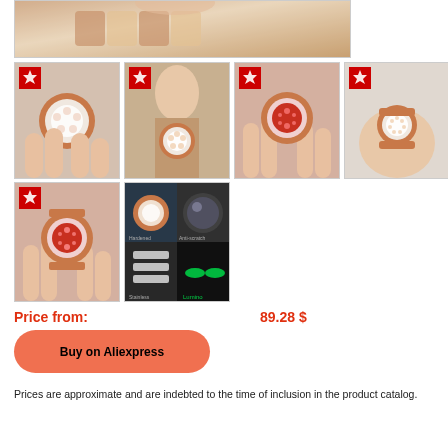[Figure (photo): Close-up of a rose gold and white ceramic watch bracelet being held by fingers]
[Figure (photo): Grid of 4 product photos: woman's hand holding rose gold white ceramic watch, model with watch, hand holding red dial watch, small watch on wrist]
[Figure (photo): Grid of 2 product photos: hand holding red dial watch, composite showing watch closeup features]
Price from:
89.28 $
Buy on Aliexpress
Prices are approximate and are indebted to the time of inclusion in the product catalog.